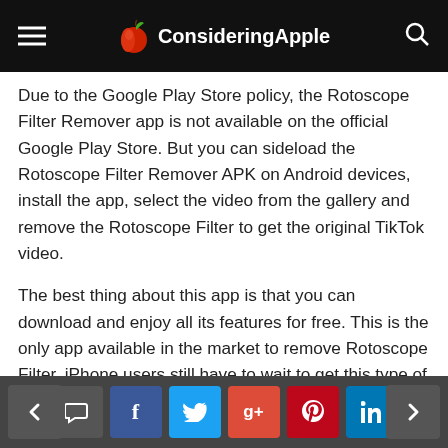ConsideringApple
Due to the Google Play Store policy, the Rotoscope Filter Remover app is not available on the official Google Play Store. But you can sideload the Rotoscope Filter Remover APK on Android devices, install the app, select the video from the gallery and remove the Rotoscope Filter to get the original TikTok video.
The best thing about this app is that you can download and enjoy all its features for free. This is the only app available in the market to remove Rotoscope Filter. iPhone users still have to wait to get this type of app.
Do you know any other app to remove TikTok filters on iPhone? Kindly share with us in the
Navigation and social share buttons